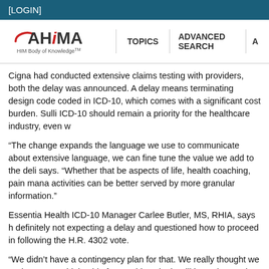[LOGIN]
[Figure (logo): AHIMA logo with text 'HIM Body of Knowledge TM' and navigation bar with TOPICS, ADVANCED SEARCH, A...]
Cigna had conducted extensive claims testing with providers, both the delay was announced. A delay means terminating design code coded in ICD-10, which comes with a significant cost burden. Sulli ICD-10 should remain a priority for the healthcare industry, even w
“The change expands the language we use to communicate about extensive language, we can fine tune the value we add to the deli says. “Whether that be aspects of life, health coaching, pain mana activities can be better served by more granular information.”
Essentia Health ICD-10 Manager Carlee Butler, MS, RHIA, says h definitely not expecting a delay and questioned how to proceed in following the H.R. 4302 vote.
“We didn’t have a contingency plan for that. We really thought we Butler says. “I think a big fear at this point is will it continue to be d
Butler says her organization was about 65 percent done with its tr there’s definitely been “a lot of switching gears here very quickly.”